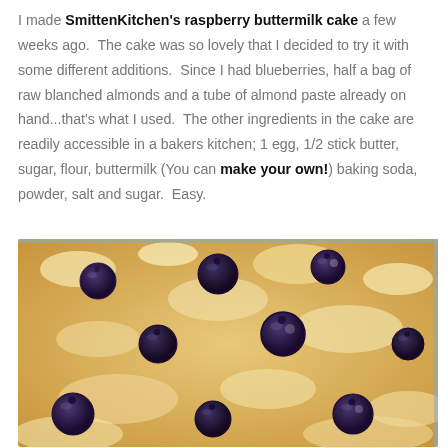I made SmittenKitchen's raspberry buttermilk cake a few weeks ago.  The cake was so lovely that I decided to try it with some different additions.  Since I had blueberries, half a bag of raw blanched almonds and a tube of almond paste already on hand...that's what I used.  The other ingredients in the cake are readily accessible in a bakers kitchen; 1 egg, 1/2 stick butter, sugar, flour, buttermilk (You can make your own!) baking soda, powder, salt and sugar.  Easy.
[Figure (photo): Close-up photo of a blueberry buttermilk cake in a baking pan, showing golden-brown crumbly top with whole blueberries scattered throughout, some with sugary coating.]